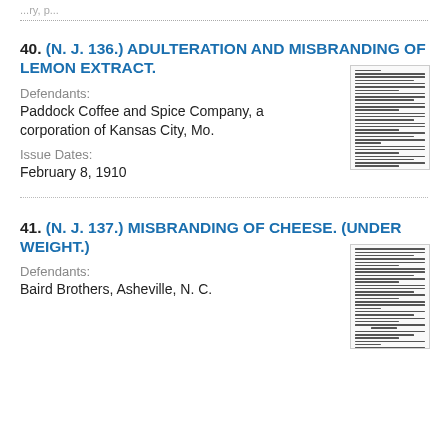...ry, p...
40. (N. J. 136.) ADULTERATION AND MISBRANDING OF LEMON EXTRACT.
Defendants:
Paddock Coffee and Spice Company, a corporation of Kansas City, Mo.
Issue Dates:
February 8, 1910
[Figure (other): Thumbnail image of the referenced document N.J. 136 showing dense text of the legal notice.]
41. (N. J. 137.) MISBRANDING OF CHEESE. (UNDER WEIGHT.)
Defendants:
Baird Brothers, Asheville, N. C.
[Figure (other): Thumbnail image of the referenced document N.J. 137 showing dense text of the legal notice.]